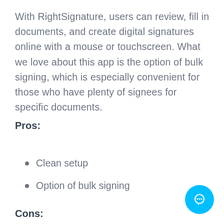With RightSignature, users can review, fill in documents, and create digital signatures online with a mouse or touchscreen. What we love about this app is the option of bulk signing, which is especially convenient for those who have plenty of signees for specific documents.
Pros:
Clean setup
Option of bulk signing
Cons:
UI is not as good as the competition